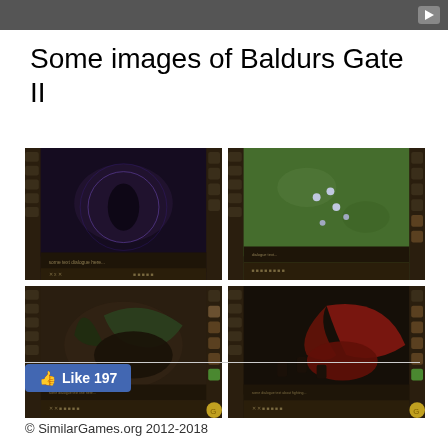[Figure (screenshot): Dark video bar at top with play button]
Some images of Baldurs Gate II
[Figure (screenshot): Four screenshots from Baldurs Gate II RPG game arranged in a 2x2 grid: top-left shows dark magic/cave scene, top-right shows outdoor grass/field battle scene, bottom-left shows dragon with dark landscape, bottom-right shows red dragon scene]
[Figure (other): Facebook Like button showing 197 likes]
© SimilarGames.org 2012-2018